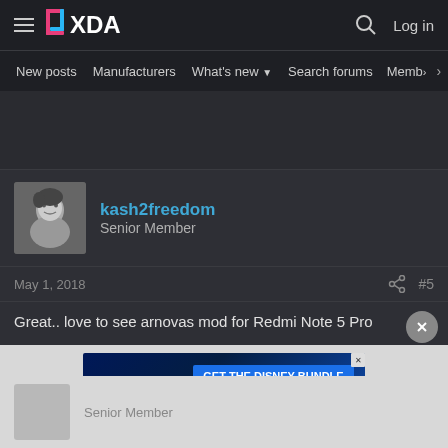XDA Forums — Navigation header with hamburger menu, XDA logo, search icon, Log in
New posts  Manufacturers  What's new  Search forums  Membe  >
[Figure (other): Empty dark advertisement space]
kash2freedom
Senior Member
May 1, 2018  #5
Great.. love to see arnovas mod for Redmi Note 5 Pro
[Figure (other): Disney Bundle advertisement banner. Shows hulu, Disney+, ESPN+ logos with 'GET THE DISNEY BUNDLE' button. Text: Incl. Hulu (ad-supported) or Hulu (No Ads). Access content from each service separately. ©2021 Disney and its related entities]
Senior Member